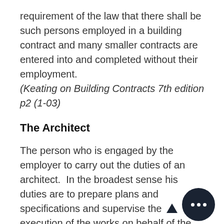requirement of the law that there shall be such persons employed in a building contract and many smaller contracts are entered into and completed without their employment. (Keating on Building Contracts 7th edition p2 (1-03)
The Architect
The person who is engaged by the employer to carry out the duties of an architect.  In the broadest sense his duties are to prepare plans and specifications and supervise the execution of the works on behalf of the employer so that they may be completed in accordance with the contract.  He is therefore the agent of